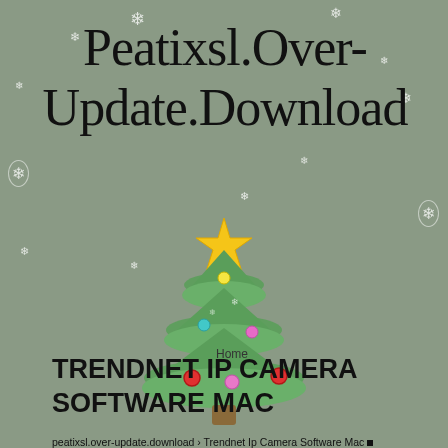Peatixsl.Over-Update.Download
[Figure (illustration): A decorated Christmas tree illustration with a gold star on top, colorful ornaments (yellow, red, pink, teal), and a 'Home' label in the center. Snowflake decorations scattered around the grey-green background.]
TRENDNET IP CAMERA SOFTWARE MAC
peatixsl.over-update.download › Trendnet Ip Camera Software Mac ■ ■
Trendnet Ip Camera Software Mac Average ratng: 4.8/5 2498 reviews